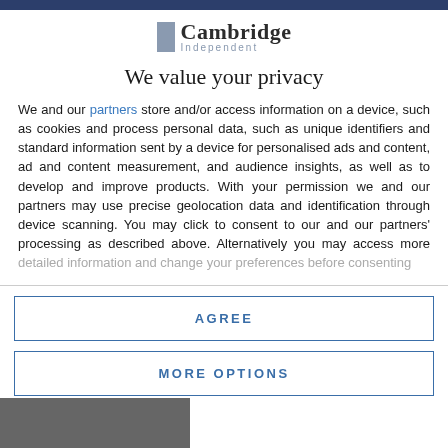Cambridge Independent
We value your privacy
We and our partners store and/or access information on a device, such as cookies and process personal data, such as unique identifiers and standard information sent by a device for personalised ads and content, ad and content measurement, and audience insights, as well as to develop and improve products. With your permission we and our partners may use precise geolocation data and identification through device scanning. You may click to consent to our and our partners' processing as described above. Alternatively you may access more detailed information and change your preferences before consenting
AGREE
MORE OPTIONS
[Figure (photo): Photo visible at the bottom of the page]